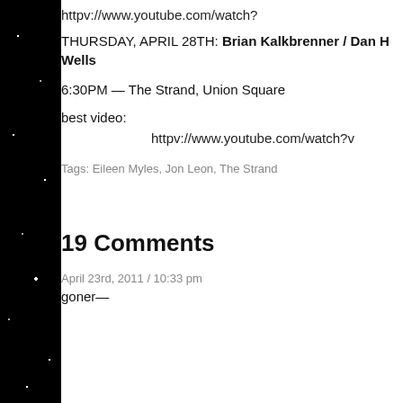httpv://www.youtube.com/watch?
THURSDAY, APRIL 28TH: Brian Kalkbrenner / Dan H Wells
6:30PM — The Strand, Union Square
best video:
httpv://www.youtube.com/watch?v
Tags: Eileen Myles, Jon Leon, The Strand
19 Comments
April 23rd, 2011 / 10:33 pm
goner—